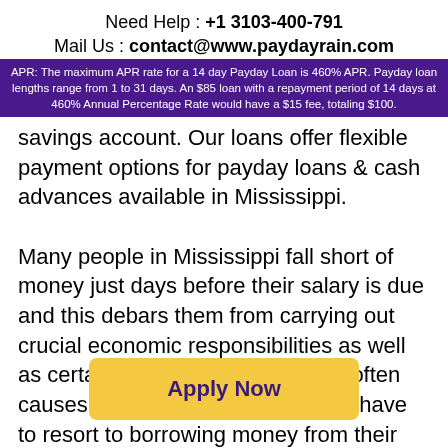Need Help : +1 3103-400-791
Mail Us : contact@www.paydayrain.com
APR: The maximum APR rate for a 14 day Payday Loan is 460% APR. Payday loan lengths range from 1 to 31 days. An $85 loan with a repayment period of 14 days at 460% Annual Percentage Rate would have a $15 fee, totaling $100.
savings account. Our loans offer flexible payment options for payday loans & cash advances available in Mississippi.

Many people in Mississippi fall short of money just days before their salary is due and this debars them from carrying out crucial economic responsibilities as well as certain small wants in life. This often causes embarrassment when they have to resort to borrowing money from their friends and family. If you have faced such problems in your life then an payday loans in Mississippi might arrange you with a unique solution to temporary mo urs. Payday loans are avai e major cities